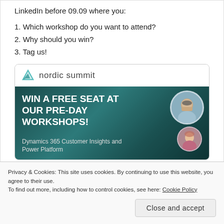LinkedIn before 09.09 where you:
1. Which workshop do you want to attend?
2. Why should you win?
3. Tag us!
[Figure (illustration): Nordic Summit promotional banner: logo with geometric teal shape, text 'nordic summit', dark teal background with 'WIN A FREE SEAT AT OUR PRE-DAY WORKSHOPS!', 'Dynamics 365 Customer Insights and Power Platform', two circular avatar photos of speakers]
♡ 8
Privacy & Cookies: This site uses cookies. By continuing to use this website, you agree to their use.
To find out more, including how to control cookies, see here: Cookie Policy
Close and accept